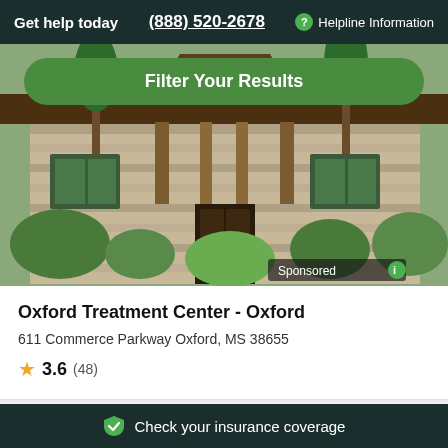Get help today   (888) 520-2678   Helpline Information
Filter Your Results
[Figure (photo): Exterior photo of a stone building with wooden architectural accents, landscaped with green shrubs and trees. A 'Sponsored' label appears in the bottom right corner.]
Oxford Treatment Center - Oxford
611 Commerce Parkway Oxford, MS 38655
3.6 (48)
[Figure (photo): Exterior photo of a facility surrounded by trees with blue sky visible.]
Resolutions Oxford
611 Commerce Parkway Oxford, MS 38655   - 29 Miles Away
Check your insurance coverage